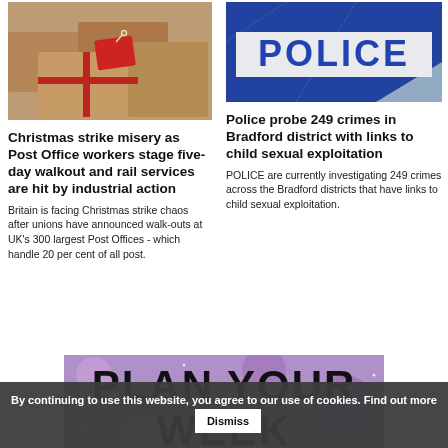[Figure (photo): Brown wrapped Christmas gift boxes with red ribbon and red gift tag]
Christmas strike misery as Post Office workers stage five-day walkout and rail services are hit by industrial action
Britain is facing Christmas strike chaos after unions have announced walk-outs at UK’s 300 largest Post Offices - which handle 20 per cent of all post.
[Figure (photo): Blue and white police tape with POLICE text in foreground]
Police probe 249 crimes in Bradford district with links to child sexual exploitation
POLICE are currently investigating 249 crimes across the Bradford districts that have links to child sexual exploitation.
[Figure (photo): Advertisement banner: PLAN YOUR WEEK AHEAD with purple sparkle background]
By continuing to use this website, you agree to our use of cookies. Find out more   Dismiss